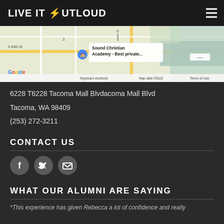LIVE IT OUT LOUD
[Figure (map): Google Maps embed showing Sound Christian Academy - Best private... location near S 64th St in Tacoma, WA. Map data ©2022.]
6228 T6228 Tacoma Mall Blvdacoma Mall Blvd
Tacoma, WA 98409
(253) 272-3211
CONTACT US
[Figure (infographic): Social media icons: Facebook, Twitter, Email (envelope)]
WHAT OUR ALUMNI ARE SAYING
*This experience has given Rebecca a lot of confidence and really